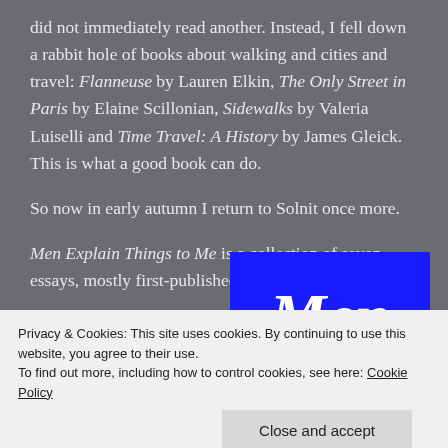did not immediately read another. Instead, I fell down a rabbit hole of books about walking and cities and travel: Flanneuse by Lauren Elkin, The Only Street in Paris by Elaine Scillonian, Sidewalks by Valeria Luiselli and Time Travel: A History by James Gleick. This is what a good book can do.
So now in early autumn I return to Solnit once more.
Men Explain Things to Me is a collection of seven essays, mostly first-published on the web-site
[Figure (illustration): Book cover image showing blue background with white italic text reading 'Men' and partial letters below]
absurdity) found in
Privacy & Cookies: This site uses cookies. By continuing to use this website, you agree to their use.
To find out more, including how to control cookies, see here: Cookie Policy
Close and accept